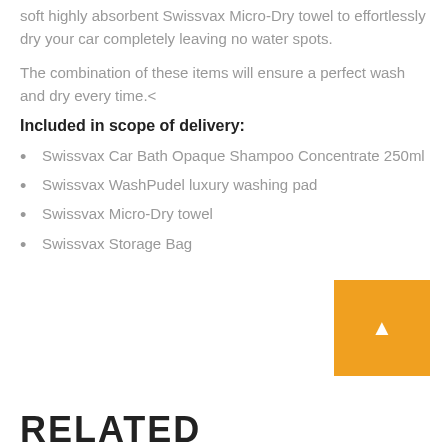soft highly absorbent Swissvax Micro-Dry towel to effortlessly dry your car completely leaving no water spots.
The combination of these items will ensure a perfect wash and dry every time.<
Included in scope of delivery:
Swissvax Car Bath Opaque Shampoo Concentrate 250ml
Swissvax WashPudel luxury washing pad
Swissvax Micro-Dry towel
Swissvax Storage Bag
RELATED